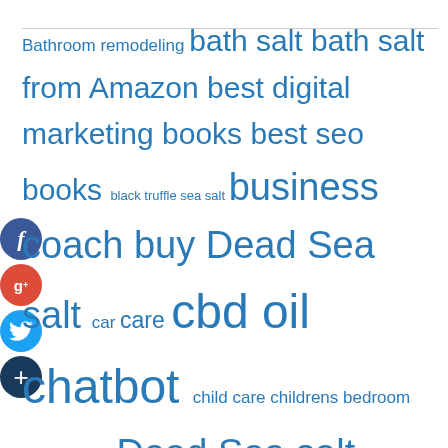Bathroom remodeling bath salt bath salt from Amazon best digital marketing books best seo books black truffle sea salt business coach buy Dead Sea salt car care cbd oil chatbot child care childrens bedroom accessories Dead Sea salt Dead Sea salt from Amazon dealers digital marketing book digital marketing course digital marketing courses Electrician Estate planning Facebook Chatbot Facebook Messenger Bot garden Health Himalayan pink salt